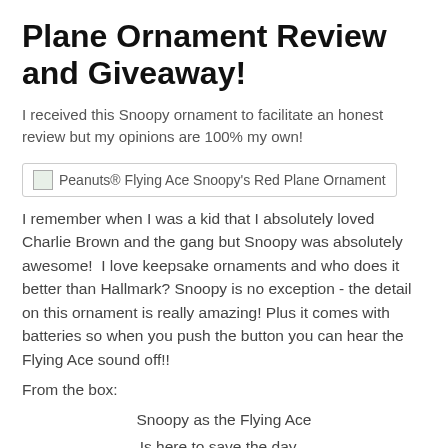Plane Ornament Review and Giveaway!
I received this Snoopy ornament to facilitate an honest review but my opinions are 100% my own!
[Figure (photo): Peanuts® Flying Ace Snoopy's Red Plane Ornament image placeholder with border]
I remember when I was a kid that I absolutely loved Charlie Brown and the gang but Snoopy was absolutely awesome!  I love keepsake ornaments and who does it better than Hallmark? Snoopy is no exception - the detail on this ornament is really amazing! Plus it comes with batteries so when you push the button you can hear the Flying Ace sound off!!
From the box:
Snoopy as the Flying Ace
Is here to save the day...
When duty or adventure calls,